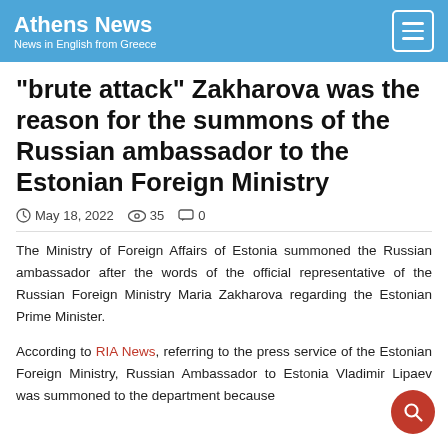Athens News — News in English from Greece
"brute attack" Zakharova was the reason for the summons of the Russian ambassador to the Estonian Foreign Ministry
May 18, 2022  35  0
The Ministry of Foreign Affairs of Estonia summoned the Russian ambassador after the words of the official representative of the Russian Foreign Ministry Maria Zakharova regarding the Estonian Prime Minister.
According to RIA News, referring to the press service of the Estonian Foreign Ministry, Russian Ambassador to Est... Vladimir Lipaev was summoned to the department because...